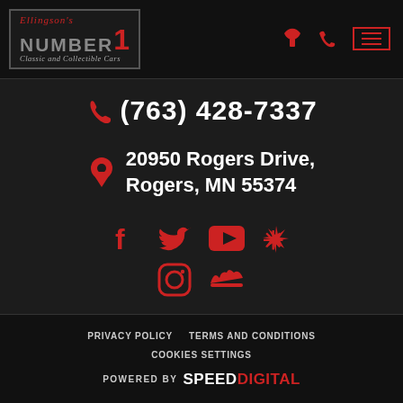[Figure (logo): Ellingson's Number 1 Classic and Collectible Cars logo with navigation phone icon and hamburger menu]
(763) 428-7337
20950 Rogers Drive, Rogers, MN 55374
[Figure (infographic): Social media icons: Facebook, Twitter, YouTube, Yelp, Instagram, and another icon in red on dark background]
PRIVACY POLICY   TERMS AND CONDITIONS   COOKIES SETTINGS   POWERED BY SPEEDDIGITAL